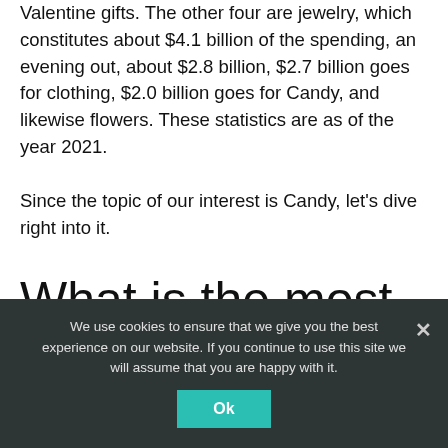Valentine gifts. The other four are jewelry, which constitutes about $4.1 billion of the spending, an evening out, about $2.8 billion, $2.7 billion goes for clothing, $2.0 billion goes for Candy, and likewise flowers. These statistics are as of the year 2021.
Since the topic of our interest is Candy, let's dive right into it.
What is the most popular Valentine's
We use cookies to ensure that we give you the best experience on our website. If you continue to use this site we will assume that you are happy with it.